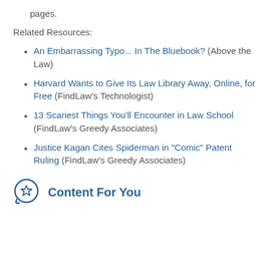pages.
Related Resources:
An Embarrassing Typo... In The Bluebook? (Above the Law)
Harvard Wants to Give Its Law Library Away, Online, for Free (FindLaw's Technologist)
13 Scariest Things You'll Encounter in Law School (FindLaw's Greedy Associates)
Justice Kagan Cites Spiderman in "Comic" Patent Ruling (FindLaw's Greedy Associates)
Content For You